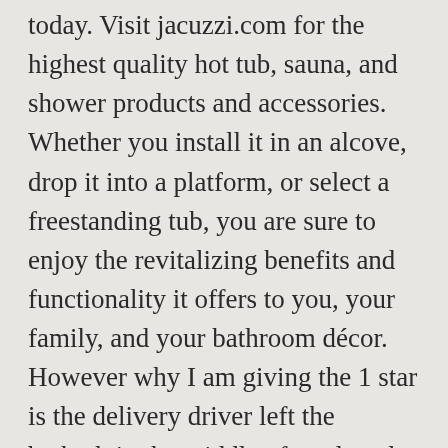today. Visit jacuzzi.com for the highest quality hot tub, sauna, and shower products and accessories. Whether you install it in an alcove, drop it into a platform, or select a freestanding tub, you are sure to enjoy the revitalizing benefits and functionality it offers to you, your family, and your bathroom décor. However why I am giving the 1 star is the delivery driver left the bathtub in the middle of road, and not even outside the door for me to bring it in. Welcome to The Whirlpool Bath Shop Facebook Page. I sent evidence to the whirlpool bath shop and their response was Good Afternoon, J & D Whirlpool Kitchen & Bath Outlet has been the premier store in Chicago, IL for all brand name products at a discounted price since 1991! The